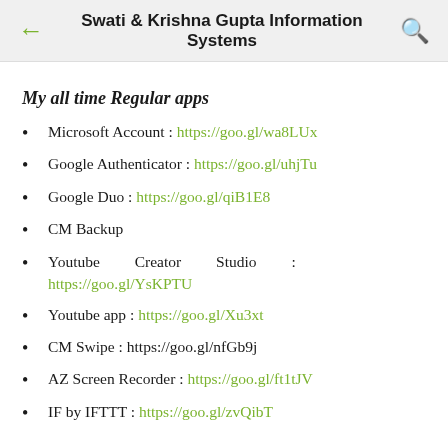Swati & Krishna Gupta Information Systems
My all time Regular apps
Microsoft Account : https://goo.gl/wa8LUx
Google Authenticator : https://goo.gl/uhjTu
Google Duo : https://goo.gl/qiB1E8
CM Backup
Youtube Creator Studio : https://goo.gl/YsKPTU
Youtube app : https://goo.gl/Xu3xt
CM Swipe : https://goo.gl/nfGb9j
AZ Screen Recorder : https://goo.gl/ft1tJV
IF by IFTTT : https://goo.gl/zvQibT